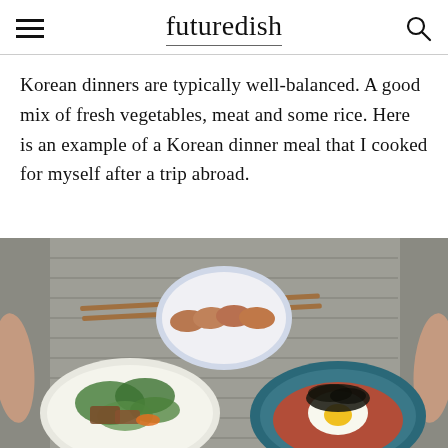futuredish
Korean dinners are typically well-balanced. A good mix of fresh vegetables, meat and some rice. Here is an example of a Korean dinner meal that I cooked for myself after a trip abroad.
[Figure (photo): Overhead view of a Korean dinner spread on a gray woven placemat: a plate of grilled meat slices in the center top, a white bowl of vegetable salad with meat on the lower left, and a blue bowl of kimchi fried rice topped with a fried egg and seaweed on the lower right. Two hands rest on either side of the placemat, with chopsticks visible.]